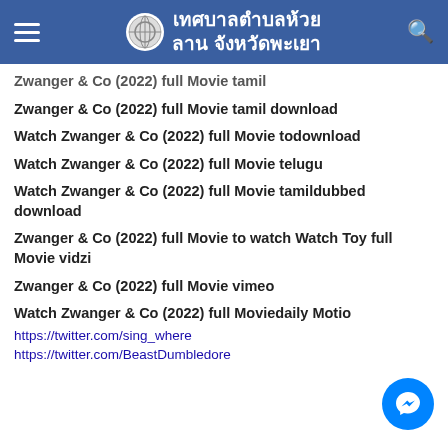เทศบาลตำบลห้วยลาน จังหวัดพะเยา
Zwanger & Co (2022) full Movie tamil
Zwanger & Co (2022) full Movie tamil download
Watch Zwanger & Co (2022) full Movie todownload
Watch Zwanger & Co (2022) full Movie telugu
Watch Zwanger & Co (2022) full Movie tamildubbed download
Zwanger & Co (2022) full Movie to watch Watch Toy full Movie vidzi
Zwanger & Co (2022) full Movie vimeo
Watch Zwanger & Co (2022) full Moviedaily Motio
https://twitter.com/sing_where
https://twitter.com/BeastDumbledore